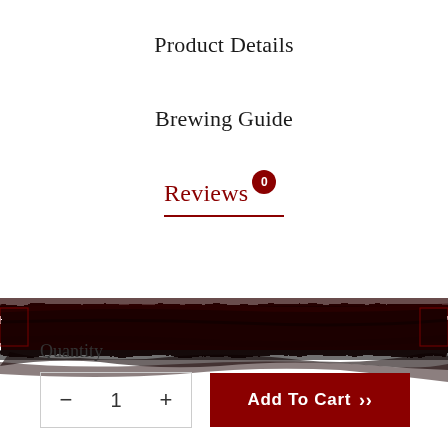Product Details
Brewing Guide
Reviews 0
[Figure (illustration): Dark ink brush stroke decorative element spanning full width]
Quantity
- 1 +
Add To Cart »